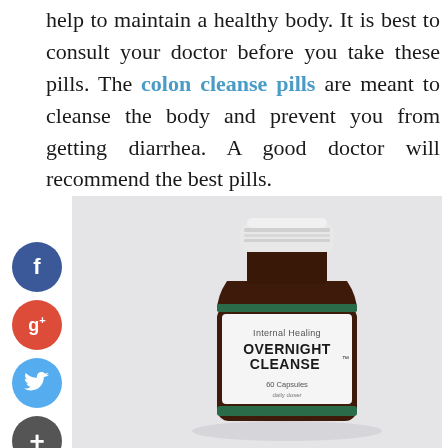help to maintain a healthy body. It is best to consult your doctor before you take these pills. The colon cleanse pills are meant to cleanse the body and prevent you from getting diarrhea. A good doctor will recommend the best pills.
[Figure (photo): A dark amber glass supplement bottle labeled 'Internal Healing OVERNIGHT CLEANSE 60 Capsules' with a white cap and green band, photographed against a light gray background. Social media share buttons (Facebook, Google+, Twitter, Add) are visible on the left side.]